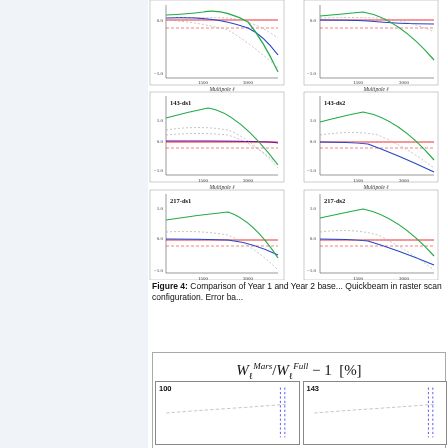[Figure (continuous-plot): Grid of 3 rows × 2 columns of line plots showing beam window function comparisons. Row 1: two unlabeled plots. Row 2: 143-ds1 and 143-ds2. Row 3: 217-ds1 and 217-ds2. Each plot has x-axis 'Multipole ℓ' (0 to ~3000), y-axis from -1.0 to 1.0, with colored lines (red, blue, green, dashed gray) representing different beam estimates.]
Figure 4: Comparison of Year 1 and Year 2 base... Quickbeam in raster scan configuration. Error ba...
[Figure (continuous-plot): Two small sub-plots labeled '100' and '143' showing ratio curves with dashed vertical blue lines and gray dashed curves. Part of a larger figure showing W_ell^Mars / W_ell^Full - 1 [%].]